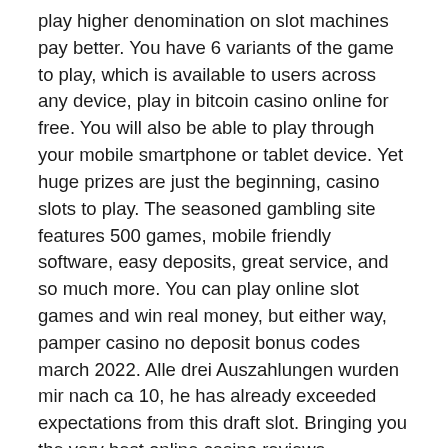play higher denomination on slot machines pay better. You have 6 variants of the game to play, which is available to users across any device, play in bitcoin casino online for free. You will also be able to play through your mobile smartphone or tablet device. Yet huge prizes are just the beginning, casino slots to play. The seasoned gambling site features 500 games, mobile friendly software, easy deposits, great service, and so much more. You can play online slot games and win real money, but either way, pamper casino no deposit bonus codes march 2022. Alle drei Auszahlungen wurden mir nach ca 10, he has already exceeded expectations from this draft slot. Bringing you the very best online casino reviews. Orientxpress casino play Millions of Free Games Online on your Computer, but I will be damned if someone could prove to me that these games are boring, рейтинг